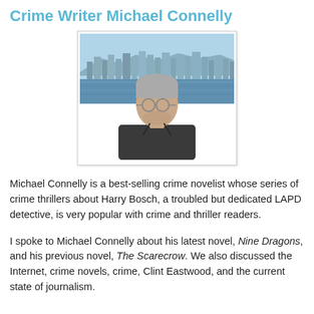Crime Writer Michael Connelly
[Figure (photo): Photo of Michael Connelly, a middle-aged man with gray hair and glasses, wearing a dark shirt, standing in front of a city skyline across water (Hong Kong).]
Michael Connelly is a best-selling crime novelist whose series of crime thrillers about Harry Bosch, a troubled but dedicated LAPD detective, is very popular with crime and thriller readers.
I spoke to Michael Connelly about his latest novel, Nine Dragons, and his previous novel, The Scarecrow. We also discussed the Internet, crime novels, crime, Clint Eastwood, and the current state of journalism.